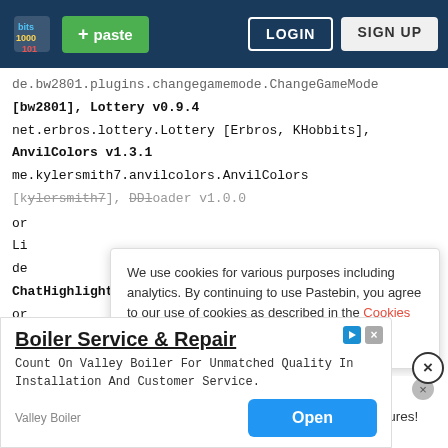Pastebin navigation bar with logo, + paste button, LOGIN and SIGN UP buttons
de.bw2801.plugins.changegamemode.ChangeGameMode
[bw2801], Lottery v0.9.4
net.erbros.lottery.Lottery [Erbros, KHobbits],
AnvilColors v1.3.1
me.kylersmith7.anvilcolors.AnvilColors
[kylersmith7], DDLoader v1.0.0
or
Li
de
ChatHighlighter v1.4
or
[]
co
We use cookies for various purposes including analytics. By continuing to use Pastebin, you agree to our use of cookies as described in the Cookies Policy. OK, I Understand
Not a member of Pastebin yet? Sign Up, it unlocks many cool features!
Boiler Service & Repair
Count On Valley Boiler For Unmatched Quality In Installation And Customer Service.
Valley Boiler   Open